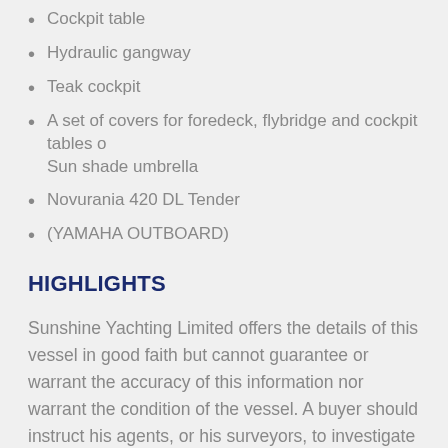Cockpit table
Hydraulic gangway
Teak cockpit
A set of covers for foredeck, flybridge and cockpit tables o Sun shade umbrella
Novurania 420 DL Tender
(YAMAHA OUTBOARD)
HIGHLIGHTS
Sunshine Yachting Limited offers the details of this vessel in good faith but cannot guarantee or warrant the accuracy of this information nor warrant the condition of the vessel. A buyer should instruct his agents, or his surveyors, to investigate such details as the buyer desires validated. This vessel is offered